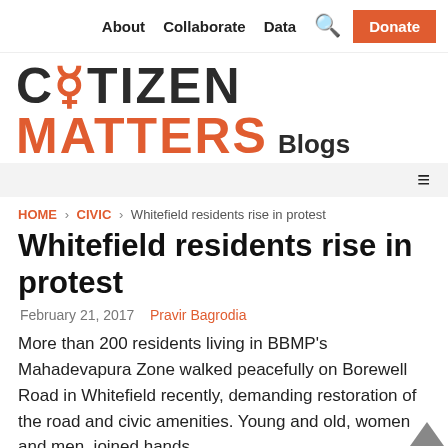About  Collaborate  Data  🔍  Donate
[Figure (logo): Citizen Matters Blogs logo — CITIZEN in dark grey with orange icon, MATTERS in orange, Blogs in dark grey]
≡ (hamburger menu)
HOME › CIVIC › Whitefield residents rise in protest
Whitefield residents rise in protest
February 21, 2017   Pravir Bagrodia
More than 200 residents living in BBMP's Mahadevapura Zone walked peacefully on Borewell Road in Whitefield recently, demanding restoration of the road and civic amenities. Young and old, women and men, joined hands